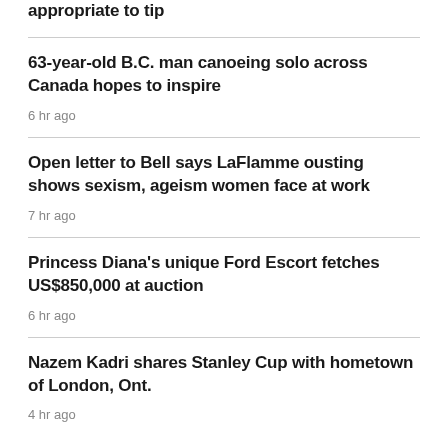appropriate to tip
63-year-old B.C. man canoeing solo across Canada hopes to inspire
6 hr ago
Open letter to Bell says LaFlamme ousting shows sexism, ageism women face at work
7 hr ago
Princess Diana's unique Ford Escort fetches US$850,000 at auction
6 hr ago
Nazem Kadri shares Stanley Cup with hometown of London, Ont.
4 hr ago